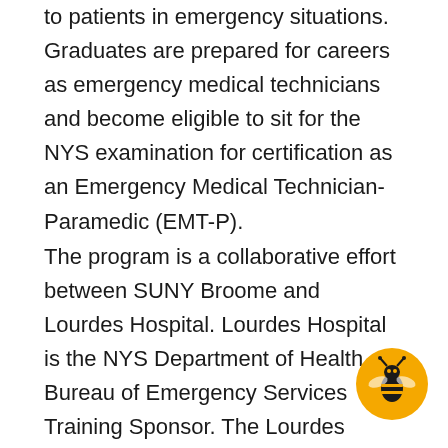to patients in emergency situations. Graduates are prepared for careers as emergency medical technicians and become eligible to sit for the NYS examination for certification as an Emergency Medical Technician-Paramedic (EMT-P).
The program is a collaborative effort between SUNY Broome and Lourdes Hospital. Lourdes Hospital is the NYS Department of Health, Bureau of Emergency Services Training Sponsor. The Lourdes Hospital Paramedic Program is delivered at SUNY Broome Community College.  Lourdes Hospital Paramedic Program's mission is to provide the community with outstanding paramedics in a timely and affordable manner.
[Figure (logo): SUNY Broome wasp mascot logo inside a gold/yellow circle]